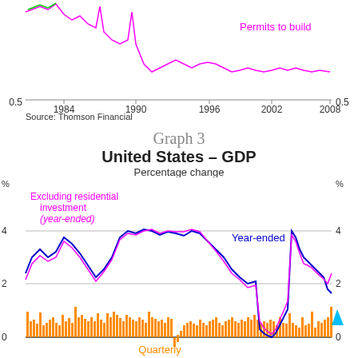[Figure (continuous-plot): Top portion of a previous chart showing 'Permits to build' line (magenta) from 1984 to 2008, with y-axis value 0.5 on both sides]
Source: Thomson Financial
Graph 3
United States – GDP
Percentage change
[Figure (continuous-plot): Line chart showing US GDP percentage change. Two line series: blue 'Year-ended' and magenta 'Excluding residential investment (year-ended)', both ranging roughly 2-5% over time from early 1980s to 2008. Orange bar chart for 'Quarterly' data shown at bottom of chart, ranging 0 to ~2%, with some negative values around 1995.]